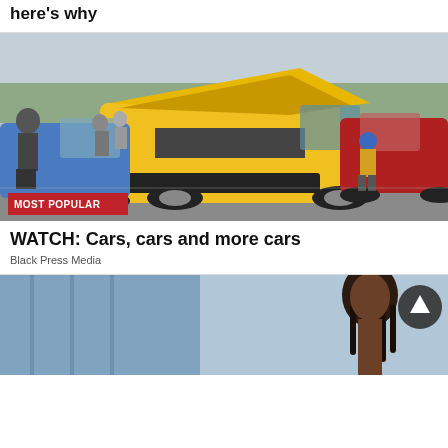here's why
[Figure (photo): Car show photo featuring a yellow classic muscle car with hood open, surrounded by other classic cars (blue, red) and spectators including a child on a street lined with trees]
MOST POPULAR
WATCH: Cars, cars and more cars
Black Press Media
[Figure (photo): Person with braided hair in foreground, blurred blue background, partial view]